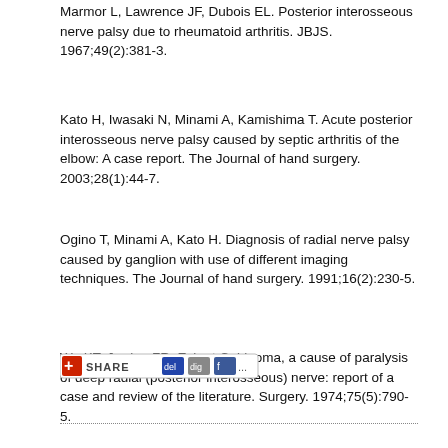Marmor L, Lawrence JF, Dubois EL. Posterior interosseous nerve palsy due to rheumatoid arthritis. JBJS. 1967;49(2):381-3.
Kato H, Iwasaki N, Minami A, Kamishima T. Acute posterior interosseous nerve palsy caused by septic arthritis of the elbow: A case report. The Journal of hand surgery. 2003;28(1):44-7.
Ogino T, Minami A, Kato H. Diagnosis of radial nerve palsy caused by ganglion with use of different imaging techniques. The Journal of hand surgery. 1991;16(2):230-5.
Wu KT, Jordan FR, Eckert C. Lipoma, a cause of paralysis of deep radial (posterior interosseous) nerve: report of a case and review of the literature. Surgery. 1974;75(5):790-5.
[Figure (other): Social share button bar with SHARE label and social media icons including del.icio.us, Digg, Facebook and more]